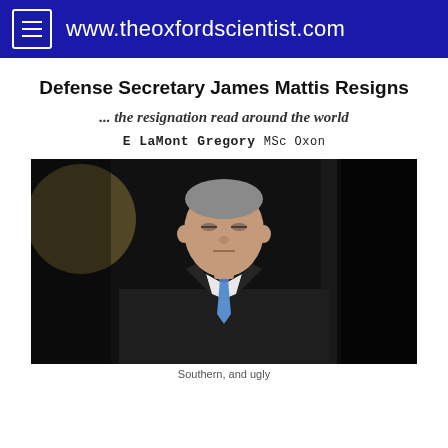www.theoxfordscientist.com
Defense Secretary James Mattis Resigns
... the resignation read around the world
E LaMont Gregory MSc Oxon
[Figure (photo): A man in a dark suit with a blue tie, appearing to be Defense Secretary James Mattis, standing in a formal setting with dark background lighting.]
Southern, and ugly